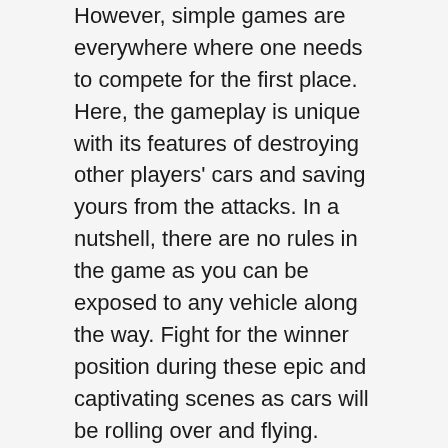However, simple games are everywhere where one needs to compete for the first place. Here, the gameplay is unique with its features of destroying other players' cars and saving yours from the attacks. In a nutshell, there are no rules in the game as you can be exposed to any vehicle along the way. Fight for the winner position during these epic and captivating scenes as cars will be rolling over and flying.
Online Events Organized Globally
For enthusiast players worldwide, the game has introduced lots of events where you will be participating and winning the races with epic prizes. Never miss these events and show the world that you are the real boss on the roads. These organized events will get you ranked on